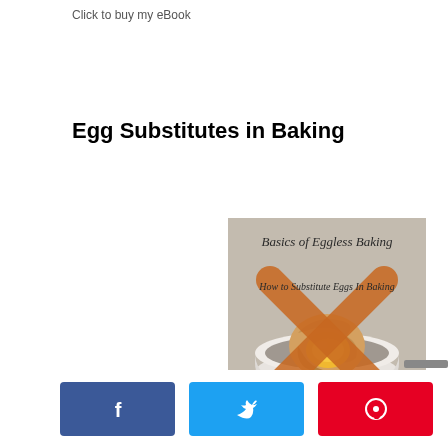Click to buy my eBook
Egg Substitutes in Baking
[Figure (illustration): Book cover for 'Basics of Eggless Baking – How to Substitute Eggs In Baking' showing a cracked egg in a white bowl with an orange X overlaid on top.]